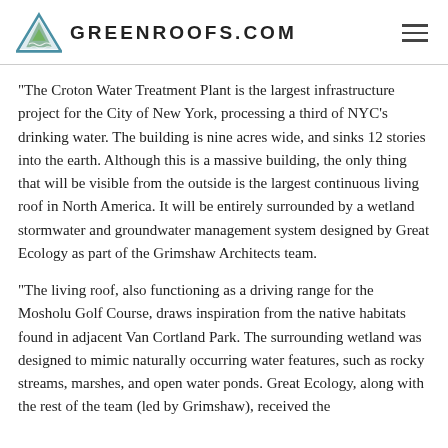GREENROOFS.COM
“The Croton Water Treatment Plant is the largest infrastructure project for the City of New York, processing a third of NYC’s drinking water. The building is nine acres wide, and sinks 12 stories into the earth. Although this is a massive building, the only thing that will be visible from the outside is the largest continuous living roof in North America. It will be entirely surrounded by a wetland stormwater and groundwater management system designed by Great Ecology as part of the Grimshaw Architects team.
“The living roof, also functioning as a driving range for the Mosholu Golf Course, draws inspiration from the native habitats found in adjacent Van Cortland Park. The surrounding wetland was designed to mimic naturally occurring water features, such as rocky streams, marshes, and open water ponds. Great Ecology, along with the rest of the team (led by Grimshaw), received the